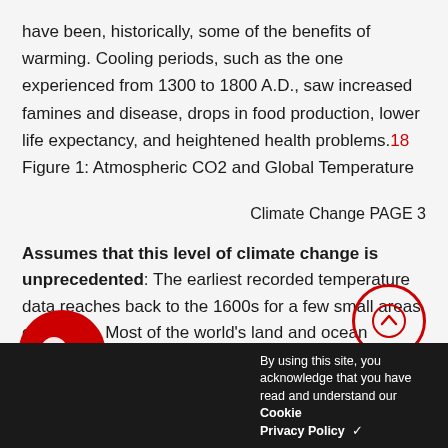have been, historically, some of the benefits of warming. Cooling periods, such as the one experienced from 1300 to 1800 A.D., saw increased famines and disease, drops in food production, lower life expectancy, and heightened health problems.18 Figure 1: Atmospheric CO2 and Global Temperature
Climate Change PAGE 3
Assumes that this level of climate change is unprecedented: The earliest recorded temperature data reaches back to the 1600s for a few small areas of E... Most of the world's land and ocean surfa...
By [using this] site, you acknowledge that you have read and understand our Cookie Privacy Policy ✓